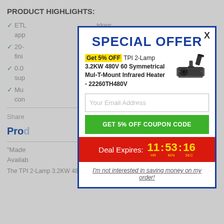PRODUCT HIGHLIGHTS:
ETL... outdoor app...
20-... ated finis...
0.0... aps for sup...
Mul... any con...
Share
Prod...
"Made... ing on Availab...
The TPI 2-Lamp 3.2KW 480V 60 Symmetrical Mul-T-Mount Infrared Heater - 22260TH480V
[Figure (screenshot): Special Offer popup modal with 5% OFF coupon code for TPI 2-Lamp 3.2KW 480V 60 Symmetrical Mul-T-Mount Infrared Heater - 22260TH480V, email input, Get 5% Off Coupon Code button, Deal Expires countdown timer showing 11:53:16 HR MIN SEC, and decline link]
SPECIAL OFFER
Get 5% OFF TPI 2-Lamp 3.2KW 480V 60 Symmetrical Mul-T-Mount Infrared Heater - 22260TH480V
Your Email Address
GET 5% OFF COUPON CODE
Deal Expires: 11 : 53 : 16 HR MIN SEC
I'm not interested in saving money on my order!